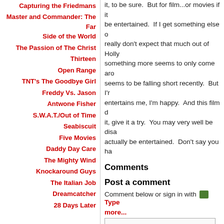Capturing the Friedmans
Master and Commander: The Far Side of the World
The Passion of The Christ
Thirteen
Open Range
TNT's The Goodbye Girl
Freddy Vs. Jason
Antwone Fisher
S.W.A.T./Out of Time
Seabiscuit
Five Movies
Daddy Day Care
The Mighty Wind
Knockaround Guys
The Italian Job
Dreamcatcher
28 Days Later
it, to be sure.  But for film...or movies if it be entertained.  If I get something else o really don't expect that much out of Holly something more seems to only come aro seems to be falling short recently.  But I' entertains me, I'm happy.  And this film d it, give it a try.  You may very well be dis actually be entertained.  Don't say you h
Comments
Post a comment
Comment below or sign in with  Typepad more...